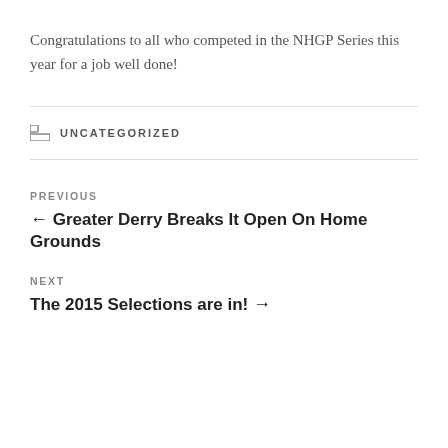Congratulations to all who competed in the NHGP Series this year for a job well done!
UNCATEGORIZED
PREVIOUS
← Greater Derry Breaks It Open On Home Grounds
NEXT
The 2015 Selections are in! →